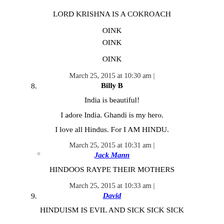LORD KRISHNA IS A COKROACH
OINK
OINK
OINK
March 25, 2015 at 10:30 am |
8. Billy B
India is beautiful!
I adore India. Ghandi is my hero.
I love all Hindus. For I AM HINDU.
March 25, 2015 at 10:31 am |
o Jack Mann
HINDOOS RAYPE THEIR MOTHERS
March 25, 2015 at 10:33 am |
9. David
HINDUISM IS EVIL AND SICK SICK SICK